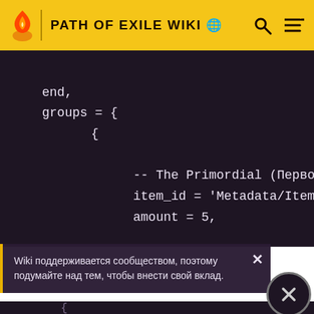PATH OF EXILE WIKI
[Figure (screenshot): Code block showing Lua/game script with: end, groups = { { -- The Primordial (Первородн..., item_id = 'Metadata/Items/Di:, amount = 5,]
Wiki поддерживается сообществом, поэтому подумайте над тем, чтобы внести свой вклад.
[Figure (photo): Army National Guard advertisement: RESTLESS? NO. RELENTLESS. DISCOVER YOUR PATH]
[Figure (screenshot): Partial code: h.conditions.factory.arg{arg='cl, function(tpl_args)]